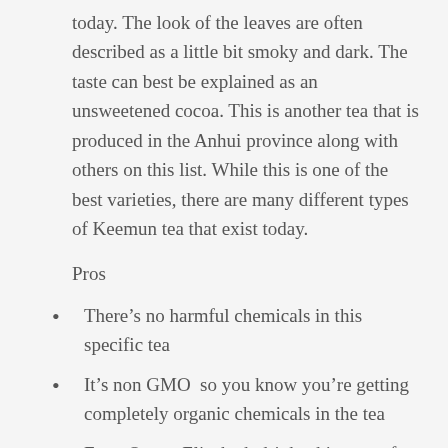today. The look of the leaves are often described as a little bit smoky and dark. The taste can best be explained as an unsweetened cocoa. This is another tea that is produced in the Anhui province along with others on this list. While this is one of the best varieties, there are many different types of Keemun tea that exist today.
Pros
There’s no harmful chemicals in this specific tea
It’s non GMO  so you know you’re getting completely organic chemicals in the tea
Even Queen Elizabeth drinks this type of tea as it’s her favorite and its kept her looking young and healthy
You’ll notice a little hint of cocoa when you drink this tea as it has a very distinct type of flavor when drank.